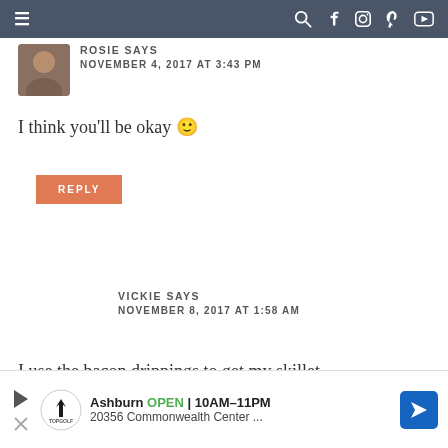≡  [navigation icons: search, facebook, instagram, pinterest, youtube]
ROSIE SAYS
NOVEMBER 4, 2017 AT 3:43 PM
I think you'll be okay 🙂
REPLY
VICKIE SAYS
NOVEMBER 8, 2017 AT 1:58 AM
I use the bacon drippings to get my skillet
[Figure (infographic): Advertisement banner: Topgolf Ashburn OPEN 10AM-11PM, 20356 Commonwealth Center..., with location arrow icon]